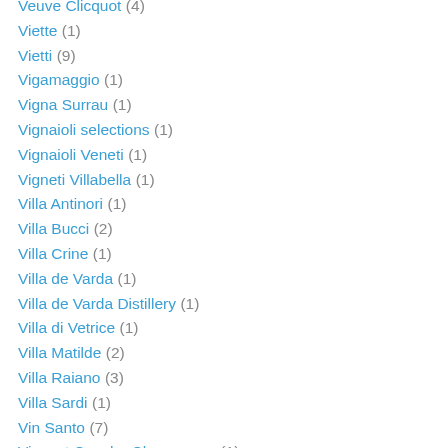Veuve Clicquot (4)
Viette (1)
Vietti (9)
Vigamaggio (1)
Vigna Surrau (1)
Vignaioli selections (1)
Vignaioli Veneti (1)
Vigneti Villabella (1)
Villa Antinori (1)
Villa Bucci (2)
Villa Crine (1)
Villa de Varda (1)
Villa de Varda Distillery (1)
Villa di Vetrice (1)
Villa Matilde (2)
Villa Raiano (3)
Villa Sardi (1)
Vin Santo (7)
Vincent Couche Champagne (1)